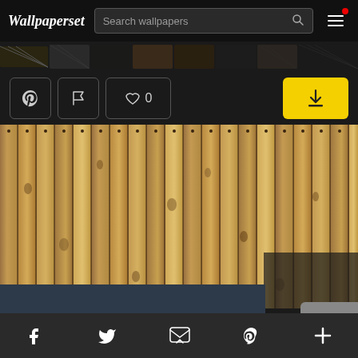Wallpaperset — Search wallpapers
[Figure (screenshot): Horizontal thumbnail strip of various wallpaper previews]
[Figure (screenshot): Action bar with Pinterest, flag, like (heart 0), and yellow download button]
[Figure (photo): Main wallpaper preview: vertical wooden fence/planks in light brown tones]
This website uses cookies. Learn more
Social icons: Facebook, Twitter, Email, Pinterest, Plus